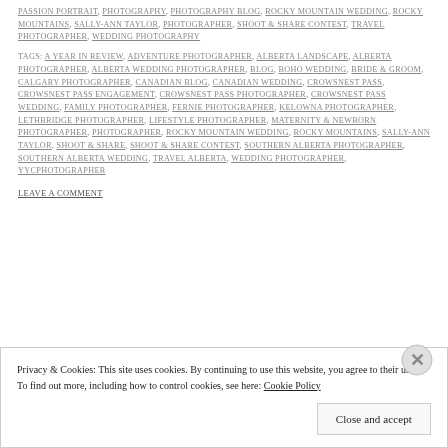PASSION PORTRAIT, PHOTOGRAPHY, PHOTOGRAPHY BLOG, ROCKY MOUNTAIN WEDDING, ROCKY MOUNTAINS, SALLY-ANN TAYLOR, PHOTOGRAPHER, SHOOT & SHARE CONTEST, TRAVEL PHOTOGRAPHER, WEDDING PHOTOGRAPHY
TAGS: A YEAR IN REVIEW, ADVENTURE PHOTOGRAPHER, ALBERTA LANDSCAPE, ALBERTA PHOTOGRAPHER, ALBERTA WEDDING PHOTOGRAPHER, BLOG, BOHO WEDDING, BRIDE & GROOM, CALGARY PHOTOGRAPHER, CANADIAN BLOG, CANADIAN WEDDING, CROWSNEST PASS, CROWSNEST PASS ENGAGEMENT, CROWSNEST PASS PHOTOGRAPHER, CROWSNEST PASS WEDDING, FAMILY PHOTOGRAPHER, FERNIE PHOTOGRAPHER, KELOWNA PHOTOGRAPHER, LETHBRIDGE PHOTOGRAPHER, LIFESTYLE PHOTOGRAPHER, MATERNITY & NEWBORN PHOTOGRAPHER, PHOTOGRAPHER, ROCKY MOUNTAIN WEDDING, ROCKY MOUNTAINS, SALLY-ANN TAYLOR, SHOOT & SHARE, SHOOT & SHARE CONTEST, SOUTHERN ALBERTA PHOTOGRAPHER, SOUTHERN ALBERTA WEDDING, TRAVEL ALBERTA, WEDDING PHOTOGRAPHER, YYCPHOTOGRAPHER
LEAVE A COMMENT
Privacy & Cookies: This site uses cookies. By continuing to use this website, you agree to their use. To find out more, including how to control cookies, see here: Cookie Policy
Close and accept